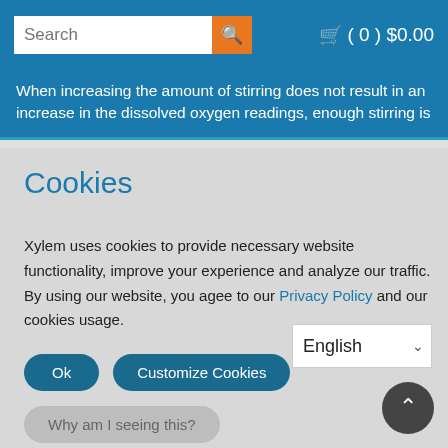Search | (0) $0.00
When increasing the amount of stirring does not result in an increase in the dissolved oxygen readings, enough stirring is
Cookies
Xylem uses cookies to provide necessary website functionality, improve your experience and analyze our traffic. By using our website, you agee to our Privacy Policy and our cookies usage.
Ok   Customize Cookies
Why am I seeing this?
English